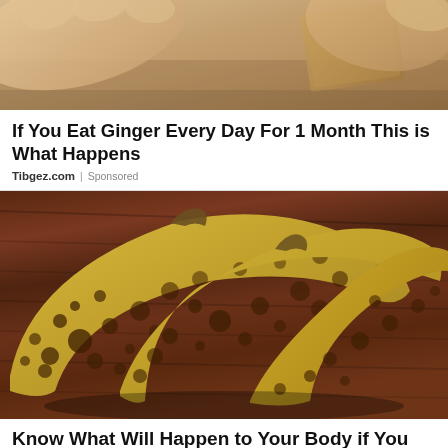[Figure (photo): Close-up photo of hands holding or working with something on a brown/tan background, partially cut off at top of page]
If You Eat Ginger Every Day For 1 Month This is What Happens
Tibgez.com | Sponsored
[Figure (photo): Three overripe bananas with dark brown spots covering yellow skin, resting on a dark wooden surface]
Know What Will Happen to Your Body if You Eat 2